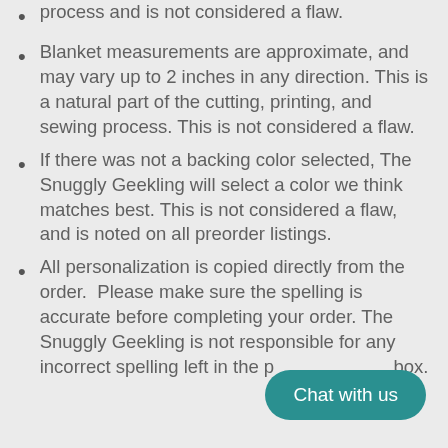process and is not considered a flaw.
Blanket measurements are approximate, and may vary up to 2 inches in any direction. This is a natural part of the cutting, printing, and sewing process. This is not considered a flaw.
If there was not a backing color selected, The Snuggly Geekling will select a color we think matches best. This is not considered a flaw, and is noted on all preorder listings.
All personalization is copied directly from the order.  Please make sure the spelling is accurate before completing your order. The Snuggly Geekling is not responsible for any incorrect spelling left in the p[ersonalization] box.